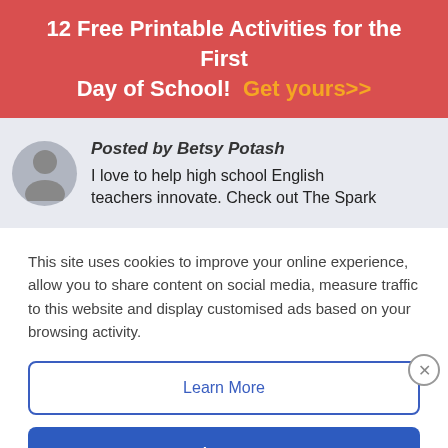12 Free Printable Activities for the First Day of School! Get yours>>
Posted by Betsy Potash
I love to help high school English teachers innovate. Check out The Spark
This site uses cookies to improve your online experience, allow you to share content on social media, measure traffic to this website and display customised ads based on your browsing activity.
Learn More
Accept
Related Content
10 Awesome Supplies for
Easy On-The-Go Options For You
McAlister's Deli